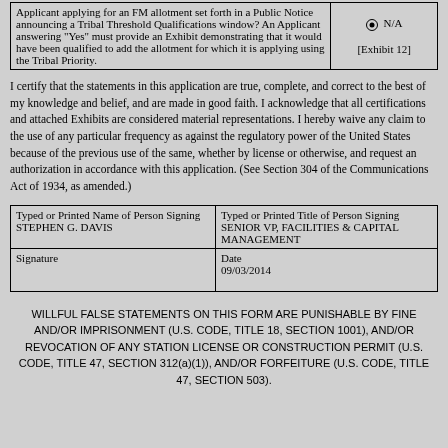| Question | Response |
| --- | --- |
| Applicant applying for an FM allotment set forth in a Public Notice announcing a Tribal Threshold Qualifications window? An Applicant answering "Yes" must provide an Exhibit demonstrating that it would have been qualified to add the allotment for which it is applying using the Tribal Priority. | N/A
[Exhibit 12] |
I certify that the statements in this application are true, complete, and correct to the best of my knowledge and belief, and are made in good faith. I acknowledge that all certifications and attached Exhibits are considered material representations. I hereby waive any claim to the use of any particular frequency as against the regulatory power of the United States because of the previous use of the same, whether by license or otherwise, and request an authorization in accordance with this application. (See Section 304 of the Communications Act of 1934, as amended.)
| Typed or Printed Name of Person Signing | Typed or Printed Title of Person Signing |
| --- | --- |
| STEPHEN G. DAVIS | SENIOR VP, FACILITIES & CAPITAL MANAGEMENT |
| Signature | Date
09/03/2014 |
WILLFUL FALSE STATEMENTS ON THIS FORM ARE PUNISHABLE BY FINE AND/OR IMPRISONMENT (U.S. CODE, TITLE 18, SECTION 1001), AND/OR REVOCATION OF ANY STATION LICENSE OR CONSTRUCTION PERMIT (U.S. CODE, TITLE 47, SECTION 312(a)(1)), AND/OR FORFEITURE (U.S. CODE, TITLE 47, SECTION 503).